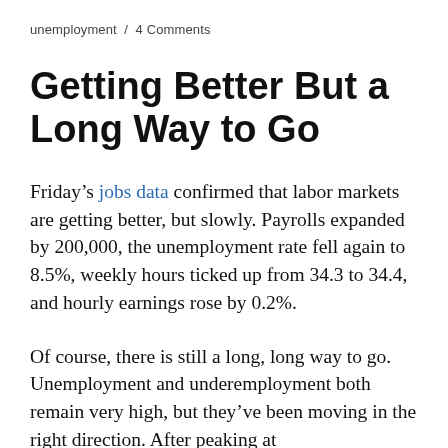unemployment / 4 Comments
Getting Better But a Long Way to Go
Friday's jobs data confirmed that labor markets are getting better, but slowly. Payrolls expanded by 200,000, the unemployment rate fell again to 8.5%, weekly hours ticked up from 34.3 to 34.4, and hourly earnings rose by 0.2%.
Of course, there is still a long, long way to go. Unemployment and underemployment both remain very high, but they've been moving in the right direction. After peaking at